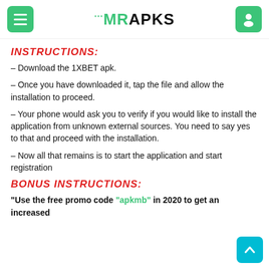MRAPKS
INSTRUCTIONS:
– Download the 1XBET apk.
– Once you have downloaded it, tap the file and allow the installation to proceed.
– Your phone would ask you to verify if you would like to install the application from unknown external sources. You need to say yes to that and proceed with the installation.
– Now all that remains is to start the application and start registration
BONUS INSTRUCTIONS:
"Use the free promo code "apkmb" in 2020 to get an increased